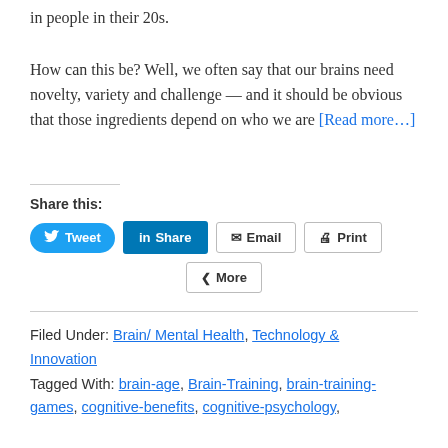in people in their 20s.
How can this be? Well, we often say that our brains need novelty, variety and challenge — and it should be obvious that those ingredients depend on who we are [Read more…]
Share this:
[Figure (other): Social share buttons: Tweet (Twitter), Share (LinkedIn), Email, Print, More]
Filed Under: Brain/ Mental Health, Technology & Innovation
Tagged With: brain-age, Brain-Training, brain-training-games, cognitive-benefits, cognitive-psychology,